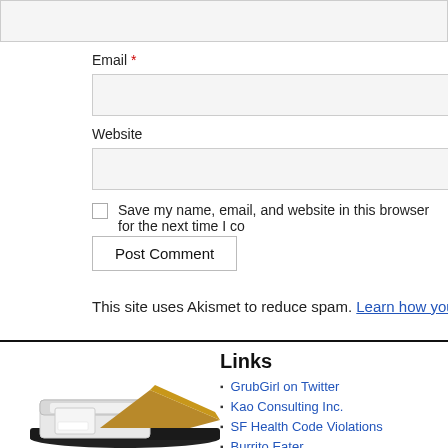Email *
Website
Save my name, email, and website in this browser for the next time I co
Post Comment
This site uses Akismet to reduce spam. Learn how your commer
[Figure (photo): Food takeout containers - a white styrofoam container and a brown paper bag/wrap on a dark tray]
Links
GrubGirl on Twitter
Kao Consulting Inc.
SF Health Code Violations
Burrito Eater